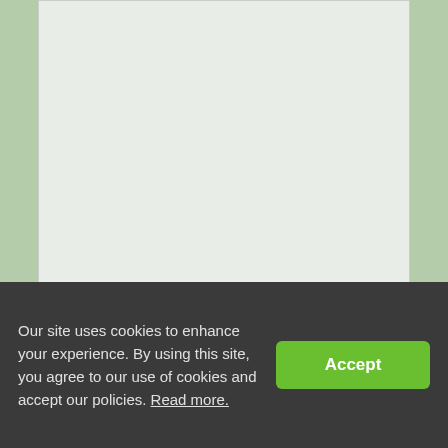[Figure (other): Light gray content area placeholder on a sage green background]
Our site uses cookies to enhance your experience. By using this site, you agree to our use of cookies and accept our policies. Read more.